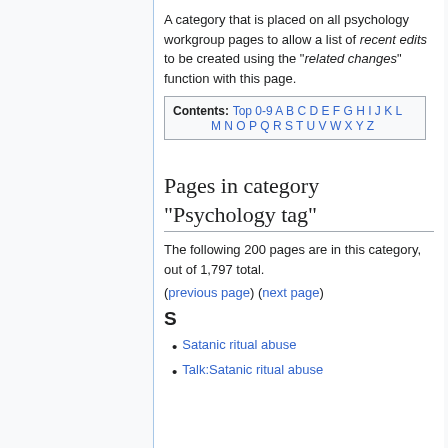A category that is placed on all psychology workgroup pages to allow a list of recent edits to be created using the "related changes" function with this page.
| Contents: |
| --- |
| Top 0-9 A B C D E F G H I J K L M N O P Q R S T U V W X Y Z |
Pages in category "Psychology tag"
The following 200 pages are in this category, out of 1,797 total.
(previous page) (next page)
S
Satanic ritual abuse
Talk:Satanic ritual abuse